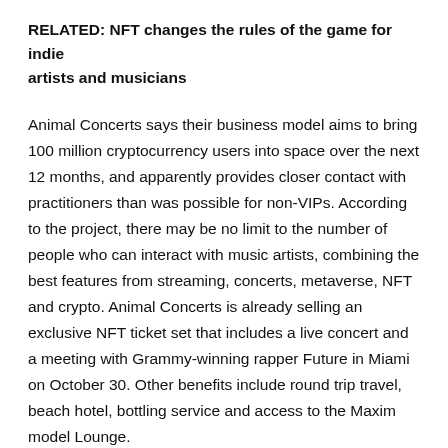RELATED: NFT changes the rules of the game for indie artists and musicians
Animal Concerts says their business model aims to bring 100 million cryptocurrency users into space over the next 12 months, and apparently provides closer contact with practitioners than was possible for non-VIPs. According to the project, there may be no limit to the number of people who can interact with music artists, combining the best features from streaming, concerts, metaverse, NFT and crypto. Animal Concerts is already selling an exclusive NFT ticket set that includes a live concert and a meeting with Grammy-winning rapper Future in Miami on October 30. Other benefits include round trip travel, beach hotel, bottling service and access to the Maxim model Lounge.
It remains to be seen whether blockchain technology will